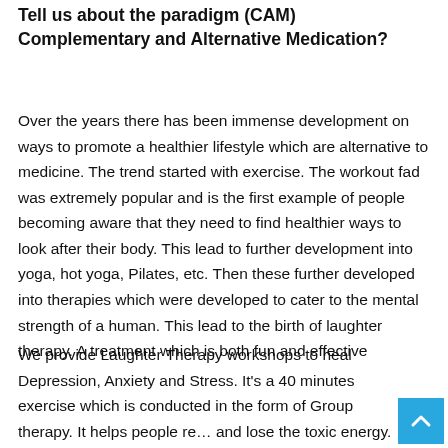Tell us about the paradigm (CAM) Complementary and Alternative Medication?
Over the years there has been immense development on ways to promote a healthier lifestyle which are alternative to medicine. The trend started with exercise. The workout fad was extremely popular and is the first example of people becoming aware that they need to find healthier ways to look after their body. This lead to further development into yoga, hot yoga, Pilates, etc. Then these further developed into therapies which were developed to cater to the mental strength of a human. This lead to the birth of laughter therapy. A treatment which is both fun and effective
We provide Laughter Therapy workshops to heal Depression, Anxiety and Stress. It's a 40 minutes exercise which is conducted in the form of Group therapy. It helps people re… and lose the toxic energy.